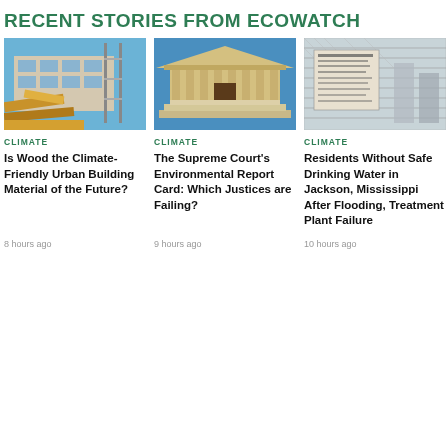RECENT STORIES FROM ECOWATCH
[Figure (photo): Construction site with wooden building materials and scaffolding under blue sky]
CLIMATE
Is Wood the Climate-Friendly Urban Building Material of the Future?
8 hours ago
[Figure (photo): US Supreme Court building with columns under blue sky]
CLIMATE
The Supreme Court's Environmental Report Card: Which Justices are Failing?
9 hours ago
[Figure (photo): Chain link fence with sign at water treatment or government facility]
CLIMATE
Residents Without Safe Drinking Water in Jackson, Mississippi After Flooding, Treatment Plant Failure
10 hours ago